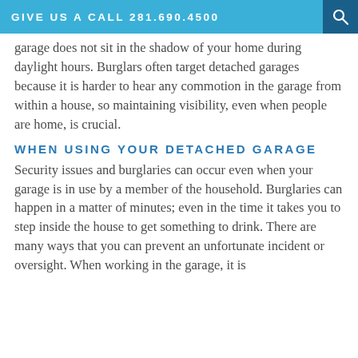GIVE US A CALL 281.690.4500
garage does not sit in the shadow of your home during daylight hours. Burglars often target detached garages because it is harder to hear any commotion in the garage from within a house, so maintaining visibility, even when people are home, is crucial.
WHEN USING YOUR DETACHED GARAGE
Security issues and burglaries can occur even when your garage is in use by a member of the household. Burglaries can happen in a matter of minutes; even in the time it takes you to step inside the house to get something to drink. There are many ways that you can prevent an unfortunate incident or oversight. When working in the garage, it is